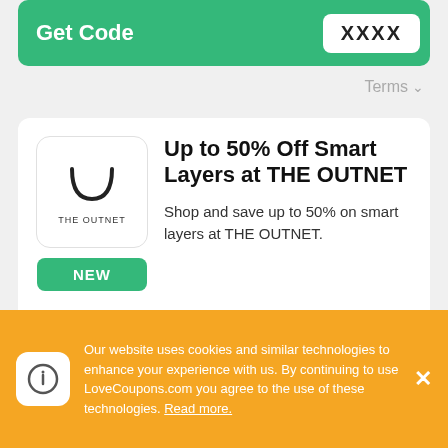[Figure (screenshot): Green 'Get Code' button bar with a white code badge showing 'XXXX']
Terms ∨
[Figure (logo): THE OUTNET logo with a U-shape icon and the text 'THE OUTNET']
Up to 50% Off Smart Layers at THE OUTNET
Shop and save up to 50% on smart layers at THE OUTNET.
NEW
[Figure (screenshot): Green 'Get Offer' button with right arrow circle]
Terms ∨
Our website uses cookies and similar technologies to enhance your experience with us. By continuing to use LoveCoupons.com you agree to the use of these technologies. Read more.